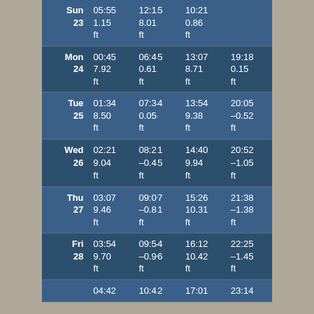| Day | Tide 1 | Tide 2 | Tide 3 | Tide 4 |
| --- | --- | --- | --- | --- |
| Sun 23 | 05:55
1.15
ft | 12:15
8.01
ft | 10:21
0.86
ft |  |
| Mon 24 | 00:45
7.92
ft | 06:45
0.61
ft | 13:07
8.71
ft | 19:18
0.15
ft |
| Tue 25 | 01:34
8.50
ft | 07:34
0.05
ft | 13:54
9.38
ft | 20:05
–0.52
ft |
| Wed 26 | 02:21
9.04
ft | 08:21
–0.45
ft | 14:40
9.94
ft | 20:52
–1.05
ft |
| Thu 27 | 03:07
9.46
ft | 09:07
–0.81
ft | 15:26
10.31
ft | 21:38
–1.38
ft |
| Fri 28 | 03:54
9.70
ft | 09:54
–0.96
ft | 16:12
10.42
ft | 22:25
–1.45
ft |
|  | 04:42 | 10:42 | 17:01 | 23:14 |